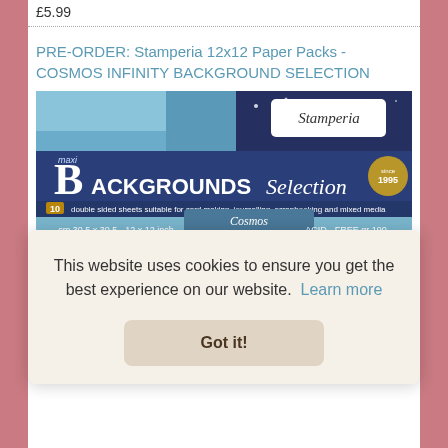£5.99
PRE-ORDER: Stamperia 12x12 Paper Packs - COSMOS INFINITY BACKGROUND SELECTION
[Figure (photo): Product image of Stamperia Maxi Backgrounds Selection paper pack for Cosmos Infinity collection - showing various space and cosmic themed background papers with the Stamperia logo]
This website uses cookies to ensure you get the best experience on our website. Learn more
Got it!